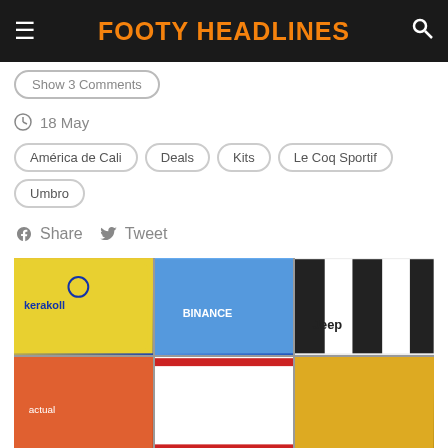FOOTY HEADLINES
Show 3 Comments
18 May
América de Cali
Deals
Kits
Le Coq Sportif
Umbro
Share   Tweet
[Figure (photo): Grid of six football jersey images: yellow jersey with kerakoll sponsor, blue Lazio jersey, Juventus black and white striped jersey with Jeep sponsor, orange jersey, white/red jersey, and yellow/gold jersey]